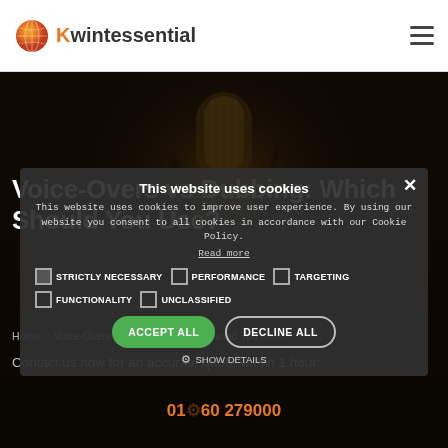Kwintessential
[Figure (screenshot): Dark hero background image showing a studio microphone in low-key lighting with dramatic shadows.]
Voice-Overs vs Dubbing: Which Should You Use?
Home > Voice-Overs vs Dubbing: Which Should You Use?
Contact us now for an accurate quote within 1 hour:
01460 279000
This website uses cookies
This website uses cookies to improve user experience. By using our website you consent to all cookies in accordance with our Cookie Policy.
Read more
STRICTLY NECESSARY   PERFORMANCE   TARGETING
FUNCTIONALITY   UNCLASSIFIED
ACCEPT ALL   DECLINE ALL
SHOW DETAILS